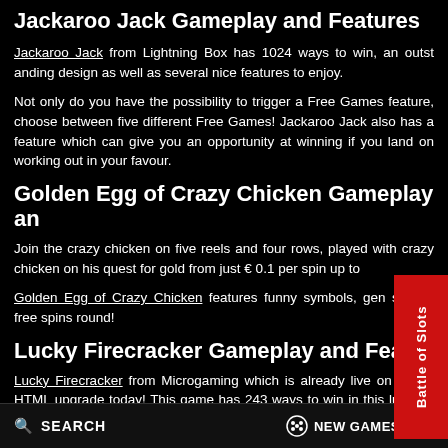Jackaroo Jack Gameplay and Features
Jackaroo Jack from Lightning Box has 1024 ways to win, an outstanding design as well as several nice features to enjoy.
Not only do you have the possibility to trigger a Free Games feature, choose between five different Free Games! Jackaroo Jack also has a feature which can give you an opportunity at winning if you land on working out in your favour.
Golden Egg of Crazy Chicken Gameplay an…
Join the crazy chicken on five reels and four rows, played with the crazy chicken on his quest for gold from just € 0.1 per spin up to…
Golden Egg of Crazy Chicken features funny symbols, gen… special free spins round!
Lucky Firecracker Gameplay and Featu…
Lucky Firecracker from Microgaming which is already live on the Vi… HTML upgrade today! This game has 243 ways to win in this lucky sl… five reels and three rows for you to spin your luck on! The minimum b… € 25.
SEARCH   NEW GAMES